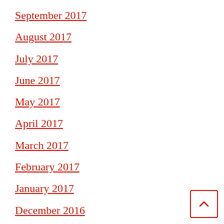September 2017
August 2017
July 2017
June 2017
May 2017
April 2017
March 2017
February 2017
January 2017
December 2016
November 2016